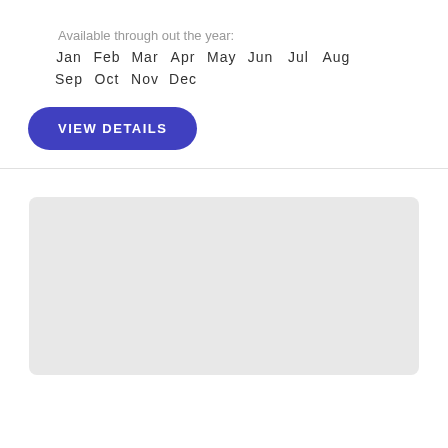Available through out the year:
Jan  Feb  Mar  Apr  May  Jun  Jul  Aug
Sep  Oct  Nov  Dec
VIEW DETAILS
[Figure (other): Gray placeholder rectangle below a horizontal divider line]